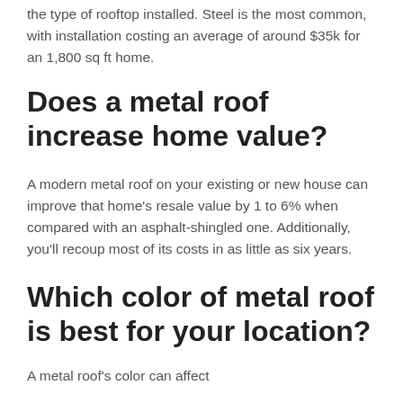the type of rooftop installed. Steel is the most common, with installation costing an average of around $35k for an 1,800 sq ft home.
Does a metal roof increase home value?
A modern metal roof on your existing or new house can improve that home's resale value by 1 to 6% when compared with an asphalt-shingled one. Additionally, you'll recoup most of its costs in as little as six years.
Which color of metal roof is best for your location?
A metal roof's color can affect...